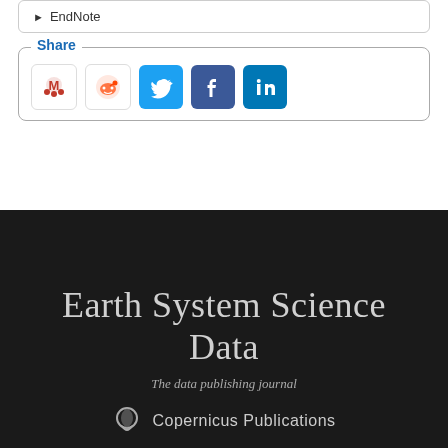EndNote
Share
[Figure (other): Share icons: Mendeley, Reddit, Twitter, Facebook, LinkedIn]
Earth System Science Data
The data publishing journal
Copernicus Publications